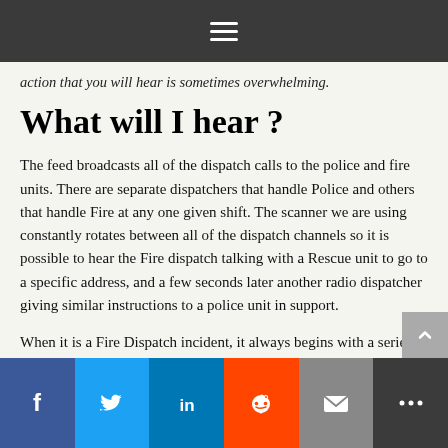≡
action that you will hear is sometimes overwhelming.
What will I hear ?
The feed broadcasts all of the dispatch calls to the police and fire units. There are separate dispatchers that handle Police and others that handle Fire at any one given shift. The scanner we are using constantly rotates between all of the dispatch channels so it is possible to hear the Fire dispatch talking with a Rescue unit to go to a specific address, and a few seconds later another radio dispatcher giving similar instructions to a police unit in support.
When it is a Fire Dispatch incident, it always begins with a series of tones. With the police stream, a tone is only generated in emergency situations.
After listening to the live feed for several minutes , the professionalism and calm that the members of the police and fire department radiate is nothing short of amazing. At the
Facebook Twitter LinkedIn Reddit Email More